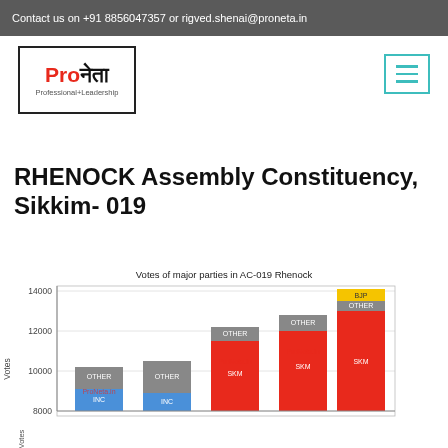Contact us on +91 8856047357 or rigved.shenai@proneta.in
[Figure (logo): ProNeta logo with text Professional+Leadership, red Pro and black neta in Devanagari]
[Figure (other): Hamburger menu icon with teal/cyan border]
RHENOCK Assembly Constituency, Sikkim- 019
[Figure (stacked-bar-chart): Stacked bar chart showing votes of major parties (INC, SKM, OTHER, BJP) in AC-019 Rhenock across multiple elections. Y-axis from 8000 to 14000. Bars show INC (blue) with small OTHER (grey) segment ~10200 and ~10500; SKM (red) bars with OTHER (grey) ~12200, ~12800, and ~13700 with BJP (yellow) on top. ProNeta.in watermark visible.]